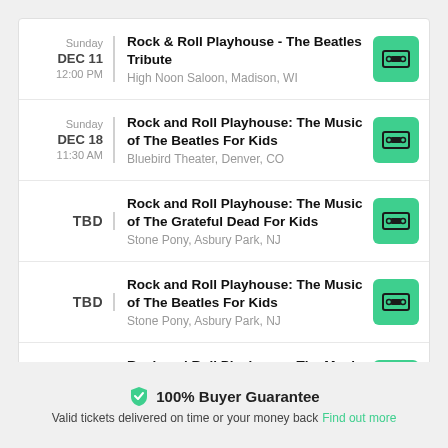Sunday DEC 11 12:00 PM | Rock & Roll Playhouse - The Beatles Tribute | High Noon Saloon, Madison, WI
Sunday DEC 18 11:30 AM | Rock and Roll Playhouse: The Music of The Beatles For Kids | Bluebird Theater, Denver, CO
TBD | Rock and Roll Playhouse: The Music of The Grateful Dead For Kids | Stone Pony, Asbury Park, NJ
TBD | Rock and Roll Playhouse: The Music of The Beatles For Kids | Stone Pony, Asbury Park, NJ
TBD | Rock and Roll Playhouse: The Music of Phish For Kids | The Ardmore Music Hall, Ardmore, PA
100% Buyer Guarantee
Valid tickets delivered on time or your money back
Find out more